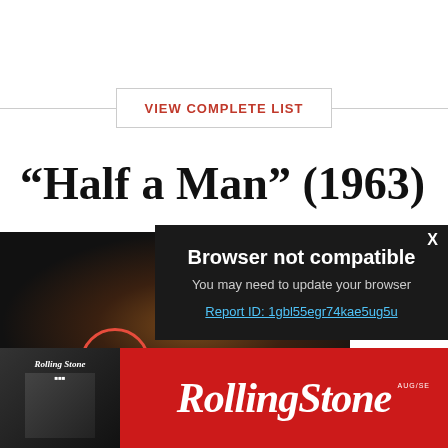VIEW COMPLETE LIST
“Half a Man” (1963)
[Figure (screenshot): Dark video thumbnail showing a face silhouette with a red-bordered play button circle at bottom left]
[Figure (screenshot): Browser not compatible modal overlay on dark background with close X button, text 'Browser not compatible', 'You may need to update your browser', and a report ID link]
[Figure (logo): Rolling Stone magazine advertisement banner with red background showing the Rolling Stone logo and a small magazine cover image]